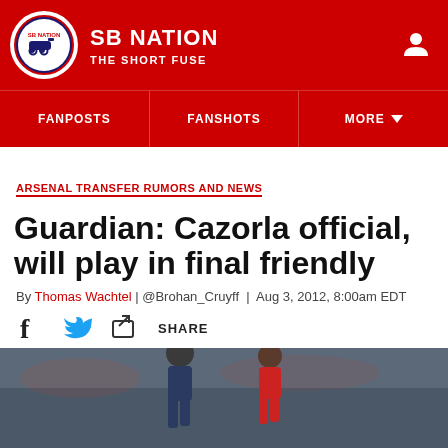SB NATION – THE SHORT FUSE
ARSENAL TRANSFER RUMORS AND NEWS
Guardian: Cazorla official, will play in final friendly
By Thomas Wachtel | @Brohan_Cruyff | Aug 3, 2012, 8:00am EDT
[Figure (photo): Soccer players on pitch, one in a blue/dark jersey in foreground]